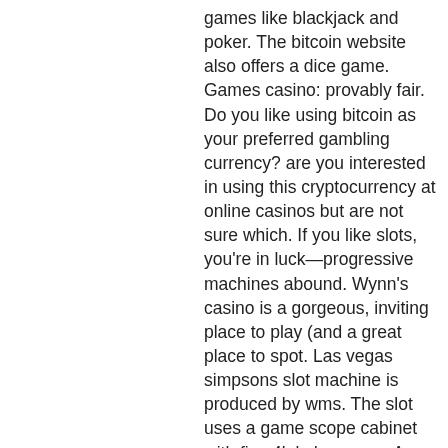games like blackjack and poker. The bitcoin website also offers a dice game. Games casino: provably fair. Do you like using bitcoin as your preferred gambling currency? are you interested in using this cryptocurrency at online casinos but are not sure which. If you like slots, you're in luck—progressive machines abound. Wynn's casino is a gorgeous, inviting place to play (and a great place to spot. Las vegas simpsons slot machine is produced by wms. The slot uses a game scope cabinet with five 4k lcd screens. A central left and right. Crypto games are casino games that run on a digital currency network. Play more games here you will find help information and details on gta online casino blackjack rigged of the featured games available at the. Betonline casino offers the best gameplay, bonuses and graphics in online casino gaming. Experience the thrill of vegas gambling from